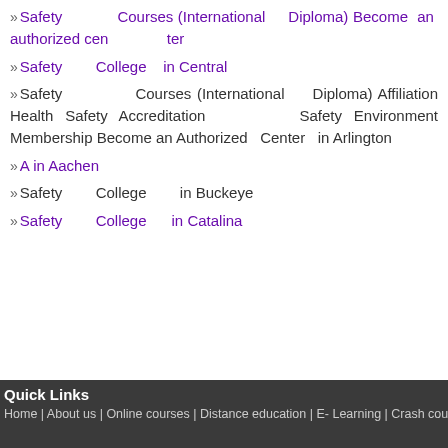» Safety Courses (International Diploma) Become an authorized center
» Safety College in Central
» Safety Courses (International Diploma) Affiliation Health Safety Accreditation Safety Environment Membership Become an Authorized Center in Arlington
» A in Aachen
» Safety College in Buckeye
» Safety College in Catalina
Quick Links
Home | About us | Online courses | Distance education | E- Learning | Crash course | Certif